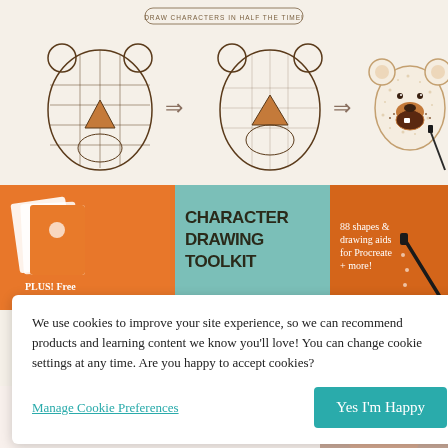[Figure (illustration): Three-step bear character drawing tutorial showing progression from wireframe grid to fully illustrated cute bear face, with arrows between steps. Text label at top reads 'DRAW CHARACTERS IN HALF THE TIME!']
[Figure (infographic): Orange and teal promotional banner for 'Character Drawing Toolkit' with text: 'PLUS! Free drawing guide!', 'CHARACTER DRAWING TOOLKIT', '88 shapes & drawing aids for Procreate + more!']
We use cookies to improve your site experience, so we can recommend products and learning content we know you'll love! You can change cookie settings at any time. Are you happy to accept cookies?
Manage Cookie Preferences
Yes I'm Happy
[Figure (illustration): Bottom strip showing partial book cover with script text 'The' and bold text 'INSTANT' in pink/coral, alongside a partial portrait of a woman's face on the right side. 'TOP' button visible bottom right.]